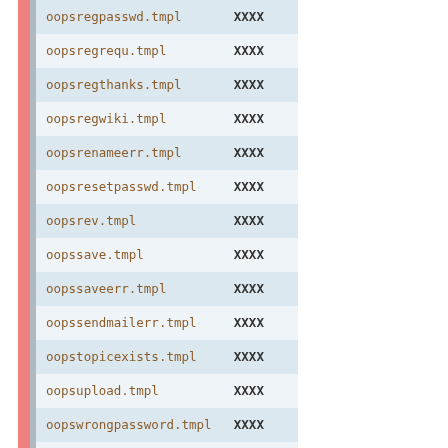| filename | status |
| --- | --- |
| oopsregpasswd.tmpl | XXXX |
| oopsregrequ.tmpl | XXXX |
| oopsregthanks.tmpl | XXXX |
| oopsregwiki.tmpl | XXXX |
| oopsrenameerr.tmpl | XXXX |
| oopsresetpasswd.tmpl | XXXX |
| oopsrev.tmpl | XXXX |
| oopssave.tmpl | XXXX |
| oopssaveerr.tmpl | XXXX |
| oopssendmailerr.tmpl | XXXX |
| oopstopicexists.tmpl | XXXX |
| oopsupload.tmpl | XXXX |
| oopswrongpassword.tmpl | XXXX |
| preview.tmpl | XXXX |
| rdiff.tmpl | XXXX |